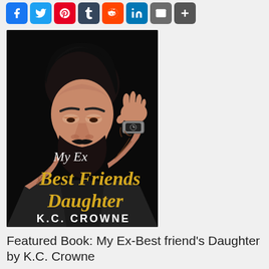[Figure (other): Row of social media sharing icons: Facebook, Twitter, Pinterest, Tumblr, Reddit, LinkedIn, Email, Plus]
[Figure (photo): Book cover for 'My Ex Best Friends Daughter' by K.C. Crowne — dark cover showing a tattooed man with beard touching his forehead, with gold script title text and white author name]
Featured Book: My Ex-Best friend's Daughter by K.C. Crowne